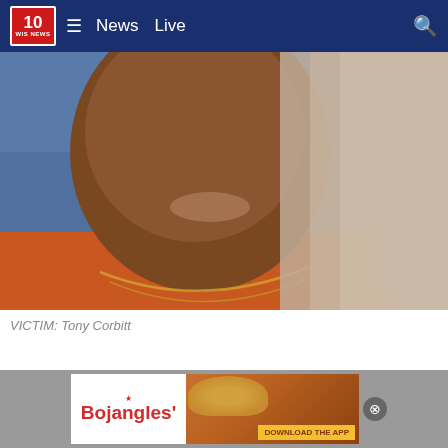10 WIS NEWS | News  Live
[Figure (photo): Close-up photo of Tony Corbitt, a man in an orange shirt with a gold chain necklace against a blue background. Part of the image is blurred on the right side.]
VICTIM: Tony Corbitt
[Figure (photo): Bojangles advertisement banner showing fried chicken sandwiches with a 'DOWNLOAD THE APP' button]